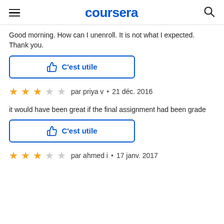coursera
Good morning. How can I unenroll. It is not what I expected. Thank you.
[Figure (other): C'est utile (thumbs up helpful button) - blue outlined button]
par priya v • 21 déc. 2016
it would have been great if the final assignment had been grade
[Figure (other): C'est utile (thumbs up helpful button) - blue outlined button]
par ahmed i • 17 janv. 2017